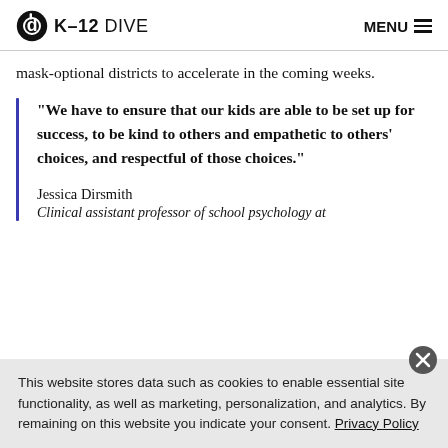K-12 DIVE   MENU
mask-optional districts to accelerate in the coming weeks.
“We have to ensure that our kids are able to be set up for success, to be kind to others and empathetic to others’ choices, and respectful of those choices.”
Jessica Dirsmith
Clinical assistant professor of school psychology at
This website stores data such as cookies to enable essential site functionality, as well as marketing, personalization, and analytics. By remaining on this website you indicate your consent. Privacy Policy